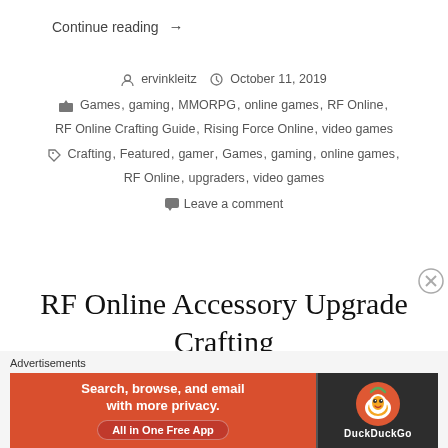Continue reading →
ervinkleitz   October 11, 2019
Games, gaming, MMORPG, online games, RF Online, RF Online Crafting Guide, Rising Force Online, video games
Crafting, Featured, gamer, Games, gaming, online games, RF Online, upgraders, video games
Leave a comment
RF Online Accessory Upgrade Crafting
[Figure (screenshot): DuckDuckGo advertisement banner: 'Search, browse, and email with more privacy. All in One Free App' with DuckDuckGo duck logo on dark background]